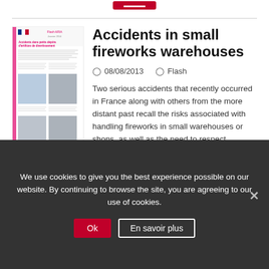[Figure (illustration): Thumbnail of French government document titled 'Accidents dans petits dépôts d'artifices de divertissement' with Flash ARIA label, featuring images of fireworks scenes]
Accidents in small fireworks warehouses
08/08/2013    Flash
Two serious accidents that recently occurred in France along with others from the more distant past recall the risks associated with handling fireworks in small warehouses or shops, as well as the need to respect pertinent basic workplace rules.
We use cookies to give you the best experience possible on our website. By continuing to browse the site, you are agreeing to our use of cookies.